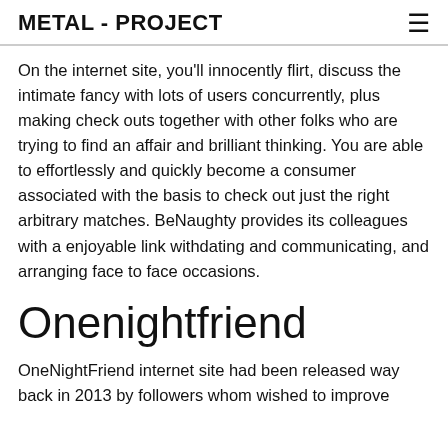METAL - PROJECT
On the internet site, you'll innocently flirt, discuss the intimate fancy with lots of users concurrently, plus making check outs together with other folks who are trying to find an affair and brilliant thinking. You are able to effortlessly and quickly become a consumer associated with the basis to check out just the right arbitrary matches. BeNaughty provides its colleagues with a enjoyable link withdating and communicating, and arranging face to face occasions.
Onenightfriend
OneNightFriend internet site had been released way back in 2013 by followers whom wished to improve